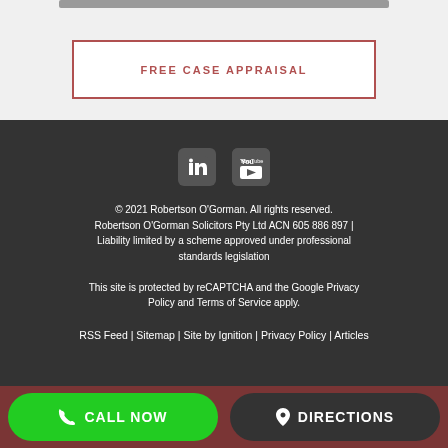FREE CASE APPRAISAL
[Figure (logo): LinkedIn and YouTube social media icons in a dark footer]
© 2021 Robertson O'Gorman. All rights reserved. Robertson O'Gorman Solicitors Pty Ltd ACN 605 886 897 | Liability limited by a scheme approved under professional standards legislation
This site is protected by reCAPTCHA and the Google Privacy Policy and Terms of Service apply.
RSS Feed | Sitemap | Site by Ignition | Privacy Policy | Articles
CALL NOW
DIRECTIONS